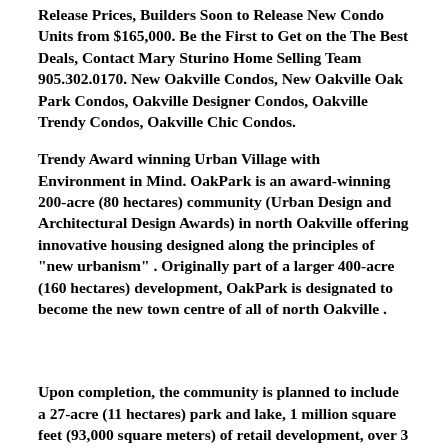Release Prices, Builders Soon to Release New Condo Units from $165,000. Be the First to Get on the The Best Deals, Contact Mary Sturino Home Selling Team 905.302.0170. New Oakville Condos, New Oakville Oak Park Condos, Oakville Designer Condos, Oakville Trendy Condos, Oakville Chic Condos.
Trendy Award winning Urban Village with Environment in Mind. OakPark is an award-winning 200-acre (80 hectares) community (Urban Design and Architectural Design Awards) in north Oakville offering innovative housing designed along the principles of "new urbanism" . Originally part of a larger 400-acre (160 hectares) development, OakPark is designated to become the new town centre of all of north Oakville .
Upon completion, the community is planned to include a 27-acre (11 hectares) park and lake, 1 million square feet (93,000 square meters) of retail development, over 3 million square feet (280,000 square meters) of office development and housing for 10,000 residents.
The park, which was the subject of an international design competition, is already a centre for summer and winter activities